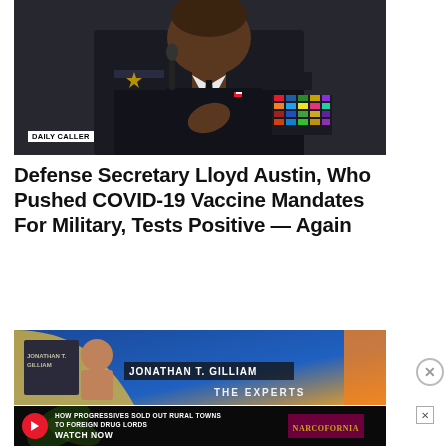[Figure (photo): Military officer in dark uniform with colorful ribbons and medals, speaking at a hearing with a microphone, gesturing with one hand. 'DAILY CALLER' watermark in bottom-left corner.]
Defense Secretary Lloyd Austin, Who Pushed COVID-19 Vaccine Mandates For Military, Tests Positive — Again
[Figure (screenshot): Partial screenshot showing a blue-background show set with text 'JONATHAN T. GILLIAM' and 'THE EXPERTS' visible, along with a book cover.]
[Figure (infographic): Advertisement banner: 'HOW PROGRESSIVES SOLD OUT RURAL TOWNS TO FOREIGN DRUG LORDS' with 'WATCH NOW' button and 'NARCOFORNIA' logo on dark background with marijuana leaf imagery.]